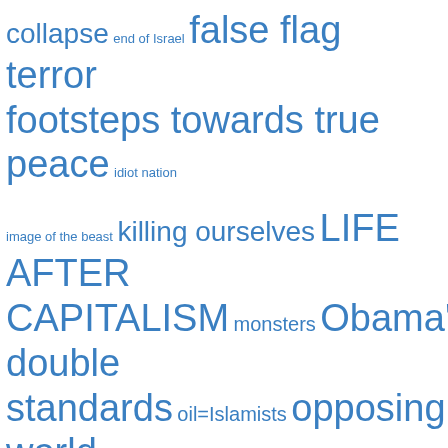[Figure (infographic): Tag cloud with political and geopolitical terms in varying font sizes, all in blue. Terms include: collapse, end of Israel, false flag terror, footsteps towards true peace, idiot nation, image of the beast, killing ourselves, LIFE AFTER CAPITALISM, monsters, Obama's double standards, oil=Islamists, opposing world war III, REGIME CHANGE, Russian Democracy, scientific dictatorship, Shut Down the Source, starting world war III, state terrorism, strategic failure, THE AMERICAN GARRISON STATE, -military]